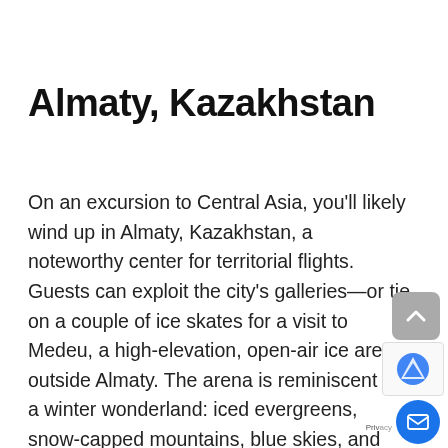Almaty, Kazakhstan
On an excursion to Central Asia, you’ll likely wind up in Almaty, Kazakhstan, a noteworthy center for territorial flights. Guests can exploit the city’s galleries—or tie on a couple of ice skates for a visit to Medeu, a high-elevation, open-air ice arena outside Almaty. The arena is reminiscent of a winter wonderland: iced evergreens, snow-capped mountains, blue skies, and Russian popular music finish the scene as individuals glide on the spacious ice.